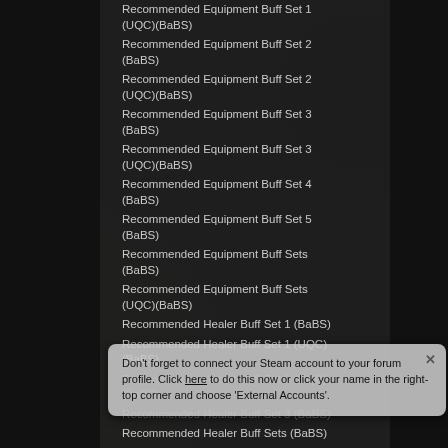Recommended Equipment Buff Set 1 (UQC)(BaBS)
Recommended Equipment Buff Set 2 (BaBS)
Recommended Equipment Buff Set 2 (UQC)(BaBS)
Recommended Equipment Buff Set 3 (BaBS)
Recommended Equipment Buff Set 3 (UQC)(BaBS)
Recommended Equipment Buff Set 4 (BaBS)
Recommended Equipment Buff Set 5 (BaBS)
Recommended Equipment Buff Sets (BaBS)
Recommended Equipment Buff Sets (UQC)(BaBS)
Recommended Healer Buff Set 1 (BaBS)
Recommended Healer Buff Set 1 (UQC)(BaBS)
Recommended Healer Buff Set 2 (UQC)(BaBS)
Recommended Healer Buff Set 3 (BaBS)
Recommended Healer Buff Sets (BaBS)
Recommended Healer Buff Sets (UQC)
Don't forget to connect your Steam account to your forum profile. Click here to do this now or click your name in the right-top corner and choose 'External Accounts'.